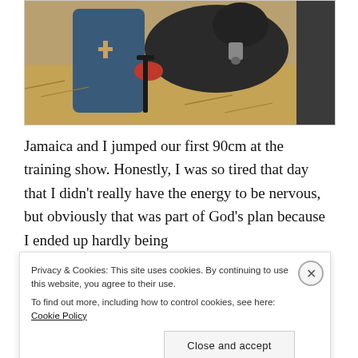[Figure (photo): A person wearing a blue polo shirt with a wooden cross necklace is working with a dark-colored cow or horse, holding some kind of tool or equipment. The background shows dry hay/straw ground.]
Jamaica and I jumped our first 90cm at the training show. Honestly, I was so tired that day that I didn’t really have the energy to be nervous, but obviously that was part of God’s plan because I ended up hardly being
Privacy & Cookies: This site uses cookies. By continuing to use this website, you agree to their use.
To find out more, including how to control cookies, see here: Cookie Policy
Close and accept